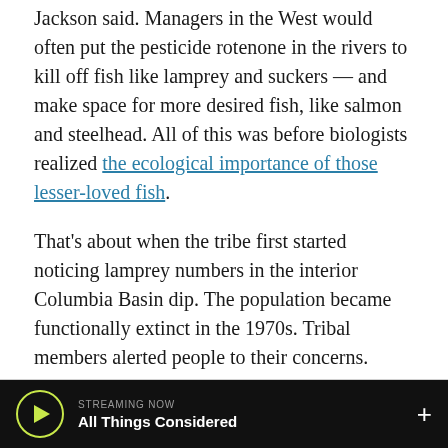Jackson said. Managers in the West would often put the pesticide rotenone in the rivers to kill off fish like lamprey and suckers — and make space for more desired fish, like salmon and steelhead. All of this was before biologists realized the ecological importance of those lesser-loved fish.
That's about when the tribe first started noticing lamprey numbers in the interior Columbia Basin dip. The population became functionally extinct in the 1970s. Tribal members alerted people to their concerns.
“Their concerns fell on deaf ears by managers for quite some time,” Jackson said.
STREAMING NOW All Things Considered